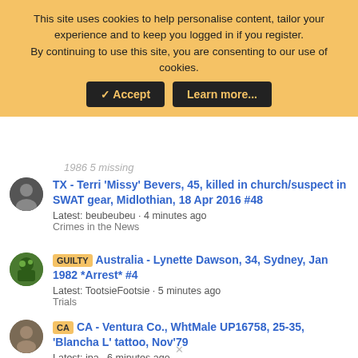This site uses cookies to help personalise content, tailor your experience and to keep you logged in if you register.
By continuing to use this site, you are consenting to our use of cookies.
✓ Accept | Learn more...
1986 5 missing
TX - Terri 'Missy' Bevers, 45, killed in church/suspect in SWAT gear, Midlothian, 18 Apr 2016 #48
Latest: beubeubeu · 4 minutes ago
Crimes in the News
GUILTY Australia - Lynette Dawson, 34, Sydney, Jan 1982 *Arrest* #4
Latest: TootsieFootsie · 5 minutes ago
Trials
CA CA - Ventura Co., WhtMale UP16758, 25-35, 'Blancha L' tattoo, Nov'79
Latest: ipa · 6 minutes ago